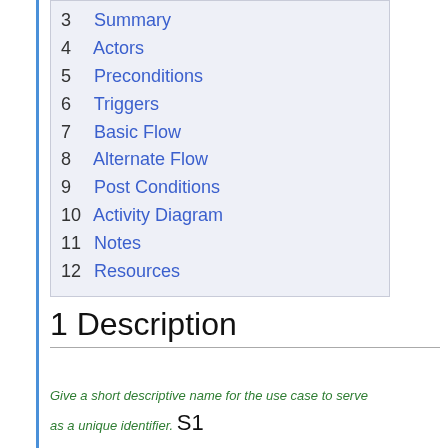3 Summary
4 Actors
5 Preconditions
6 Triggers
7 Basic Flow
8 Alternate Flow
9 Post Conditions
10 Activity Diagram
11 Notes
12 Resources
1 Description
Give a short descriptive name for the use case to serve as a unique identifier. S1